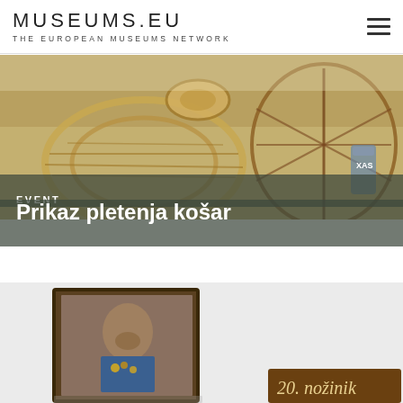MUSEUMS.EU — THE EUROPEAN MUSEUMS NETWORK
[Figure (photo): Photograph of wicker baskets and woven objects on a table, including a large round wicker basket, a dome-shaped wicker frame, and other woven items]
EVENT
Prikaz pletenja košar
[Figure (photo): Photograph of a framed portrait painting of a bearded man in military uniform with medals, hanging on a white wall. A wooden sign with the text '20. nožinik' is partially visible at the bottom right.]